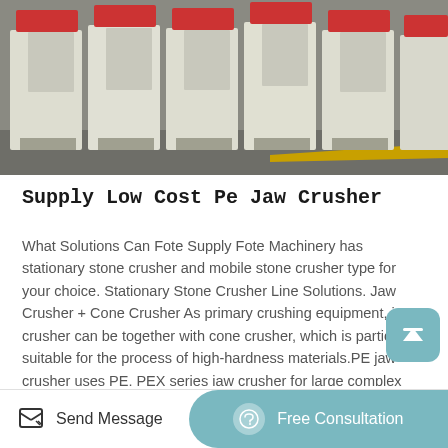[Figure (photo): Row of large white/cream-colored jaw crusher machines lined up on a factory floor with grey concrete and a yellow safety stripe line]
Supply Low Cost Pe Jaw Crusher
What Solutions Can Fote Supply Fote Machinery has stationary stone crusher and mobile stone crusher type for your choice. Stationary Stone Crusher Line Solutions. Jaw Crusher + Cone Crusher As primary crushing equipment, jaw crusher can be together with cone crusher, which is particularly suitable for the process of high-hardness materials.PE jaw crusher uses PE, PEX series jaw crusher for large complex pendulum, widely used in mining, metallurgy, construction,
Send Message   Free Consultation